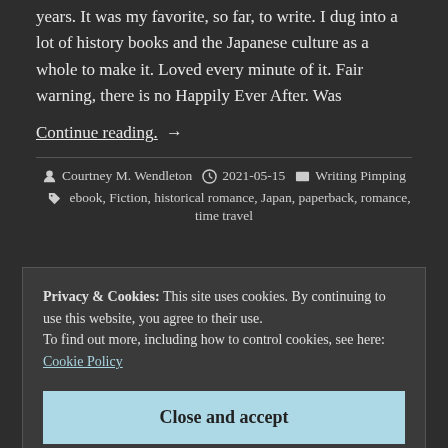years. It was my favorite, so far, to write. I dug into a lot of history books and the Japanese culture as a whole to make it. Loved every minute of it. Fair warning, there is no Happily Ever After. Was
Continue reading . →
Courtney M. Wendleton  2021-05-15  Writing Pimping  ebook, Fiction, historical romance, Japan, paperback, romance, time travel
Privacy & Cookies: This site uses cookies. By continuing to use this website, you agree to their use.
To find out more, including how to control cookies, see here:
Cookie Policy
Close and accept
Barnett